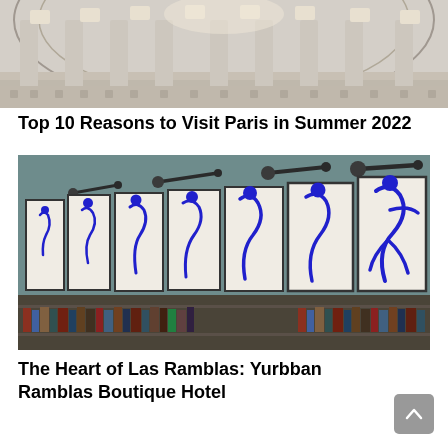[Figure (photo): Architectural interior photo showing an ornate domed ceiling with columns and decorative molding, viewed from below]
Top 10 Reasons to Visit Paris in Summer 2022
[Figure (photo): Interior of a hotel or gallery showing a row of framed blue ink figure drawings of running/moving human figures mounted on a teal wall with wall-mounted lights, with bookshelves below]
The Heart of Las Ramblas: Yurbban Ramblas Boutique Hotel